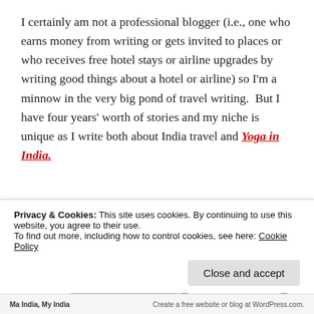I certainly am not a professional blogger (i.e., one who earns money from writing or gets invited to places or who receives free hotel stays or airline upgrades by writing good things about a hotel or airline) so I'm a minnow in the very big pond of travel writing.  But I have four years' worth of stories and my niche is unique as I write both about India travel and Yoga in India.
[Figure (screenshot): Advertisement banner showing a photo app or journal interface with blue background and text 'your journal for life', with thumbnail photos including palm trees and number overlays.]
Privacy & Cookies: This site uses cookies. By continuing to use this website, you agree to their use.
To find out more, including how to control cookies, see here: Cookie Policy
Ma India, My India | Create a free website or blog at WordPress.com.